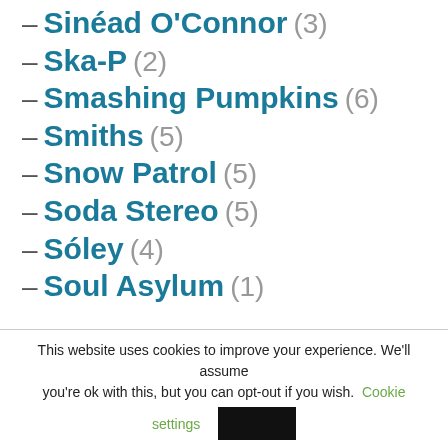– Sinéad O'Connor (3)
– Ska-P (2)
– Smashing Pumpkins (6)
– Smiths (5)
– Snow Patrol (5)
– Soda Stereo (5)
– Sóley (4)
– Soul Asylum (1)
This website uses cookies to improve your experience. We'll assume you're ok with this, but you can opt-out if you wish. Cookie settings